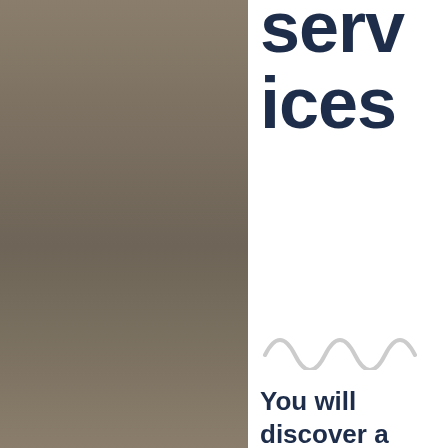[Figure (photo): Brown/tan textured fabric or cloth background filling the left column]
serv
ices
[Figure (illustration): Decorative wavy line divider in light gray]
You will discover a extended street that music musicians must travel to obtain the